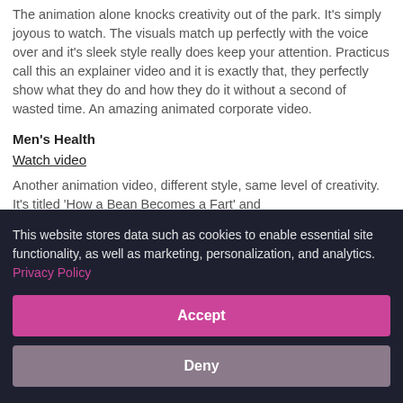The animation alone knocks creativity out of the park. It's simply joyous to watch. The visuals match up perfectly with the voice over and it's sleek style really does keep your attention. Practicus call this an explainer video and it is exactly that, they perfectly show what they do and how they do it without a second of wasted time. An amazing animated corporate video.
Men's Health
Watch video
Another animation video, different style, same level of creativity. It's titled 'How a Bean Becomes a Fart' and
This website stores data such as cookies to enable essential site functionality, as well as marketing, personalization, and analytics. Privacy Policy
Accept
Deny